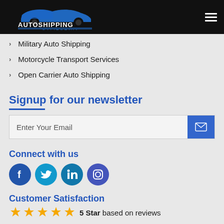[Figure (logo): AutoShipping California logo with blue car silhouette on black background]
Military Auto Shipping
Motorcycle Transport Services
Open Carrier Auto Shipping
Signup for our newsletter
Enter Your Email
Connect with us
[Figure (illustration): Social media icons: Facebook, Twitter, LinkedIn, Instagram]
Customer Satisfaction
5 Star based on reviews